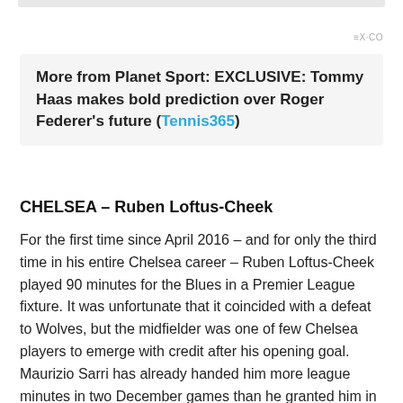≡X·CO
More from Planet Sport: EXCLUSIVE: Tommy Haas makes bold prediction over Roger Federer's future (Tennis365)
CHELSEA – Ruben Loftus-Cheek
For the first time since April 2016 – and for only the third time in his entire Chelsea career – Ruben Loftus-Cheek played 90 minutes for the Blues in a Premier League fixture. It was unfortunate that it coincided with a defeat to Wolves, but the midfielder was one of few Chelsea players to emerge with credit after his opening goal. Maurizio Sarri has already handed him more league minutes in two December games than he granted him in 13 matches from August to November. It's a quite literal start.